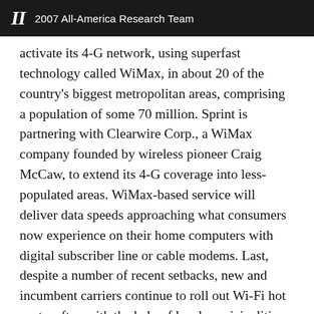II  2007 All-America Research Team
activate its 4-G network, using superfast technology called WiMax, in about 20 of the country's biggest metropolitan areas, comprising a population of some 70 million. Sprint is partnering with Clearwire Corp., a WiMax company founded by wireless pioneer Craig McCaw, to extend its 4-G coverage into less-populated areas. WiMax-based service will deliver data speeds approaching what consumers now experience on their home computers with digital subscriber line or cable modems. Last, despite a number of recent setbacks, new and incumbent carriers continue to roll out Wi-Fi hot spots, often with the help of local municipalities.
[Figure (other): Social sharing icons: Facebook (f), Twitter (bird), and a plus (+) button, displayed as grey circles at the bottom of the page.]